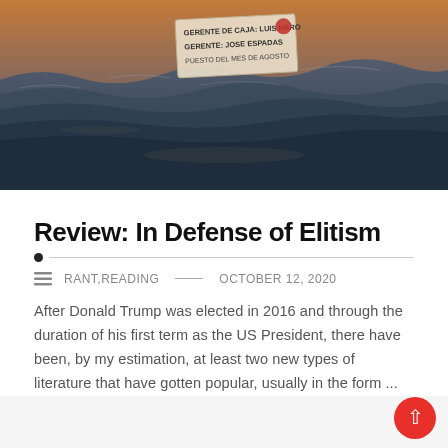[Figure (photo): Ocean waves with a paper boat or sign floating on the water, partially showing text 'GERENTE DE CAJA: LUIS HARO', 'GERENTE: JOSE ESPADAS', 'PUESTO DEL MES DE AGOSTO'. Warm sunset tones in background.]
Review: In Defense of Elitism
RANT,READING   OCTOBER 12, 2020
After Donald Trump was elected in 2016 and through the duration of his first term as the US President, there have been, by my estimation, at least two new types of literature that have gotten popular, usually in the form ...
Continue reading ····>